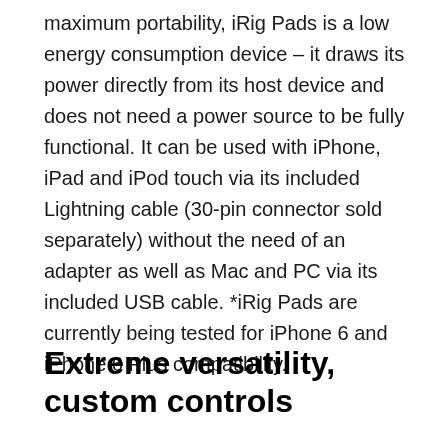maximum portability, iRig Pads is a low energy consumption device – it draws its power directly from its host device and does not need a power source to be fully functional. It can be used with iPhone, iPad and iPod touch via its included Lightning cable (30-pin connector sold separately) without the need of an adapter as well as Mac and PC via its included USB cable. *iRig Pads are currently being tested for iPhone 6 and iPhone 6 Plus compatibility.
Extreme versatility, custom controls